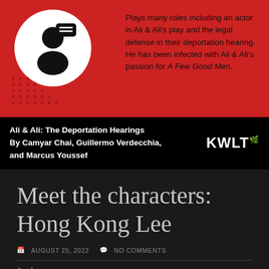[Figure (illustration): Red banner with silhouette person icon in white circle with speech bubble on left, and text on the right describing a character who plays many roles including an actor in Ali & Ali's play and the legal defense in their deportation hearing.]
Plays many roles including an actor in Ali & Ali's play and the legal defense in their deportation hearing. He has been infected with Ali & Ali's passion for A Few Good Men.
Ali & Ali: The Deportation Hearings By Camyar Chai, Guillermo Verdecchia, and Marcus Youssef
Meet the characters: Hong Kong Lee
AUGUST 25, 2022   NO COMMENTS
1 role